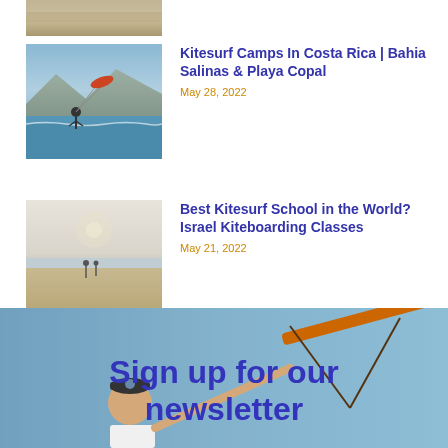[Figure (photo): Partial top image strip showing sandy/beach texture]
[Figure (photo): Kitesurfer on the water with mountains in background, Costa Rica]
Kitesurf Camps In Costa Rica | Bahia Salinas & Playa Copal
May 28, 2022
[Figure (photo): Two people on a wide sandy beach with calm water, Israel kiteboarding]
Best Kitesurf School in the World? Israel Kiteboarding Classes
May 21, 2022
[Figure (photo): Newsletter signup section background showing kitesurfer holding orange kite bar, man in cap in foreground]
Sign up for our newsletter